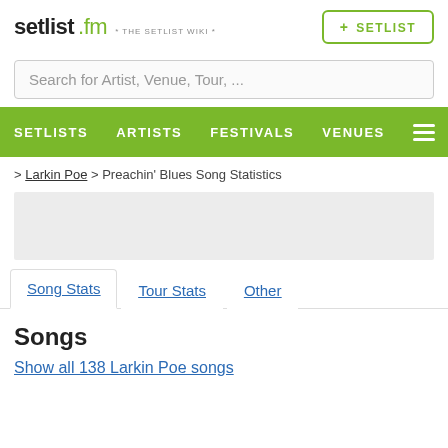setlist.fm * THE SETLIST WIKI *
Search for Artist, Venue, Tour, ...
SETLISTS   ARTISTS   FESTIVALS   VENUES
> Larkin Poe > Preachin' Blues Song Statistics
Song Stats   Tour Stats   Other
Songs
Show all 138 Larkin Poe songs